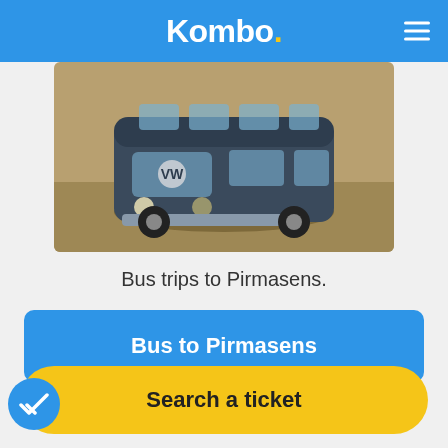Kombo.
[Figure (photo): A toy VW bus / van model photographed on sandy ground, representing bus travel.]
Bus trips to Pirmasens.
Bus to Pirmasens
Search a ticket